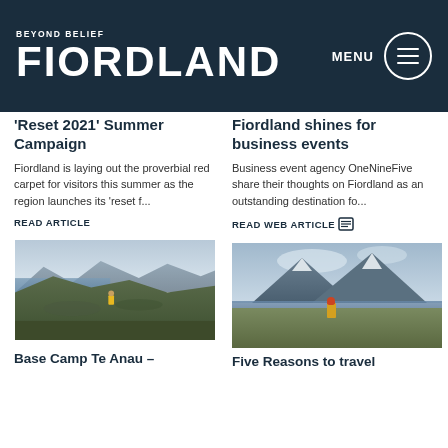BEYOND BELIEF FIORDLAND — MENU
'Reset 2021' Summer Campaign
Fiordland is laying out the proverbial red carpet for visitors this summer as the region launches its 'reset f...
READ ARTICLE
Fiordland shines for business events
Business event agency OneNineFive share their thoughts on Fiordland as an outstanding destination fo...
READ WEB ARTICLE
[Figure (photo): Person in yellow jacket standing on rocky highland with mountains and lake in background]
[Figure (photo): Person with red hat and yellow jacket looking at dramatic mountain peaks with lake, Milford Sound area]
Base Camp Te Anau –
Five Reasons to travel